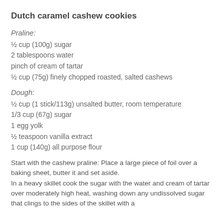Dutch caramel cashew cookies
Praline:
½ cup (100g) sugar
2 tablespoons water
pinch of cream of tartar
½ cup (75g) finely chopped roasted, salted cashews
Dough:
½ cup (1 stick/113g) unsalted butter, room temperature
1/3 cup (67g) sugar
1 egg yolk
½ teaspoon vanilla extract
1 cup (140g) all purpose flour
Start with the cashew praline: Place a large piece of foil over a baking sheet, butter it and set aside.
In a heavy skillet cook the sugar with the water and cream of tartar over moderately high heat, washing down any undissolved sugar that clings to the sides of the skillet with a brush dipped in cold water, until the mixture is a light...